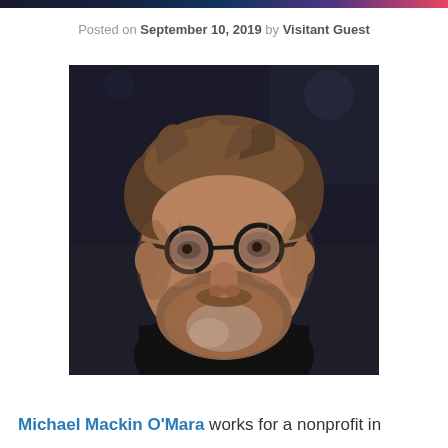Posted on September 10, 2019 by Visitant Guest
[Figure (photo): Portrait photo of Michael Mackin O'Mara, a bearded middle-aged man with glasses wearing a black top, photographed against a dark background.]
Michael Mackin O'Mara works for a nonprofit in